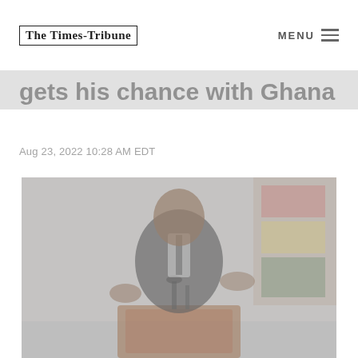The Times-Tribune | MENU
gets his chance with Ghana
Aug 23, 2022 10:28 AM EDT
[Figure (photo): A man in a dark suit speaking at a podium with microphones, gesturing with both hands, with a colorful flag visible in the background. The image has a faded/muted overlay.]